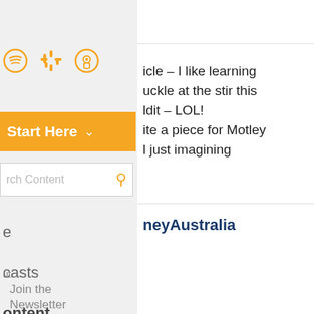[Figure (screenshot): Navigation sidebar and content area of a financial/investment website (Motley Fool Australia). Left panel shows podcast icons (Spotify, Google Podcasts, Apple Podcasts), an orange 'Start Here' dropdown button, a search bar, and partial navigation items. Right panel shows partial comment text about learning and Motley Australia.]
icle – I like learning
uckle at the stir this
ldit – LOL!
ite a piece for Motley
l just imagining
Join the Newsletter
neyAustralia